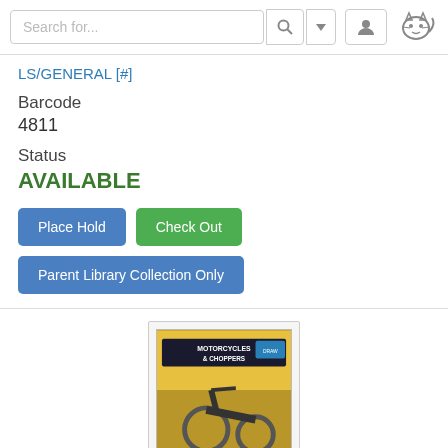Search for...
LS/GENERAL [#]
Barcode
4811
Status
AVAILABLE
Place Hold  Check Out  Parent Library Collection Only
[Figure (photo): Book cover for 'How to Draw Motorcycles & Choppers' showing a motorcycle illustration with yellow and orange background]
How to Draw Motorcycles & Choppers (Ho...